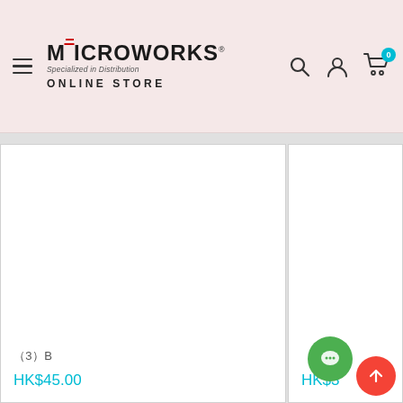[Figure (logo): Microworks Online Store logo with hamburger menu, search, account, and cart icons in pink/rose header]
(3）B
HK$45.00
HK$3...